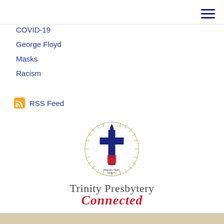≡
COVID-19
George Floyd
Masks
Racism
RSS Feed
[Figure (logo): Trinity Presbytery logo with Presbyterian Church seal and cross/flame emblem]
Trinity Presbytery Connected